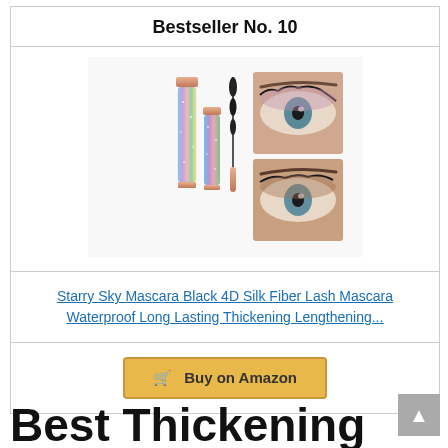Bestseller No. 10
[Figure (photo): Product photo showing two glitter mascara tubes with rainbow holographic finish and a mascara wand, alongside two close-up eye photos showing the mascara effect on lashes]
Starry Sky Mascara Black 4D Silk Fiber Lash Mascara Waterproof Long Lasting Thickening Lengthening...
Buy on Amazon
Best Thickening